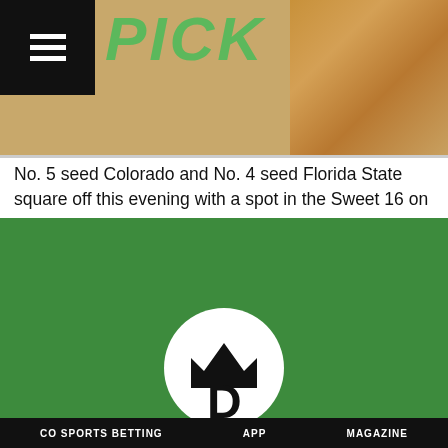[Figure (photo): Website header with hamburger menu icon on black background, green bold italic 'PICK' text, and background photo of pretzels on a counter]
No. 5 seed Colorado and No. 4 seed Florida State square off this evening with a spot in the Sweet 16 on the line. While the remaining field currently consists of a number of Cinderella squads, the Buffaloes and Seminoles are two teams that survived the opening round chaos for a right to go at it in the Round of 32.
Let's jump into this NCAA Tournament second round matchup between Colorado and Florida State with a look at the odds before providing some picks and predictions.
[Figure (logo): DraftKings logo: white circle with crown and D symbol on green background banner]
CO SPORTS BETTING   APP   MAGAZINE